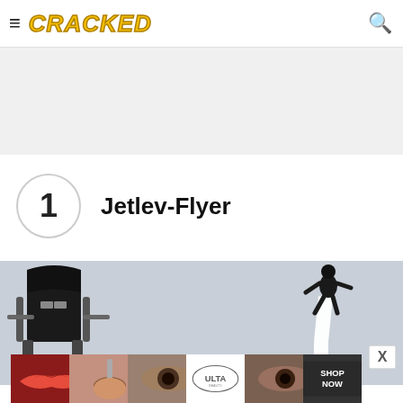CRACKED
[Figure (other): Gray ad banner placeholder area at top of page]
1 Jetlev-Flyer
[Figure (photo): Photo of Jetlev-Flyer water jetpack device on left and a person flying with white water jet stream on right, sky background]
[Figure (photo): Bottom advertisement strip for ULTA beauty with makeup and eyes imagery and SHOP NOW text]